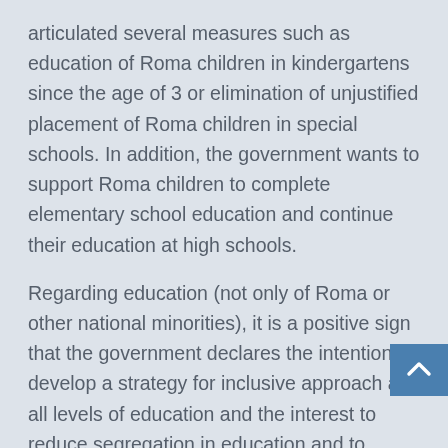articulated several measures such as education of Roma children in kindergartens since the age of 3 or elimination of unjustified placement of Roma children in special schools. In addition, the government wants to support Roma children to complete elementary school education and continue their education at high schools.
Regarding education (not only of Roma or other national minorities), it is a positive sign that the government declares the intention to develop a strategy for inclusive approach at all levels of education and the interest to reduce segregation in education and to promote education of children with health impairment and children from socially disadvantaged background in kindergartens. Even though such measures have been needed for a long